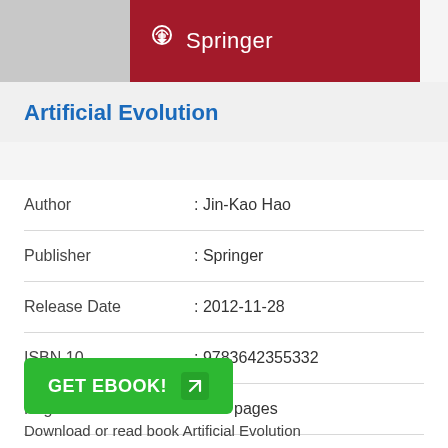[Figure (logo): Springer publisher logo with white knight chess piece icon and 'Springer' text on dark red background, with gray section to the left]
Artificial Evolution
| Author | : Jin-Kao Hao |
| Publisher | : Springer |
| Release Date | : 2012-11-28 |
| ISBN 10 | : 9783642355332 |
| Pages | : 229 pages |
| Rating | : 4.6/5 (423 users) |
GET EBOOK!
Download or read book Artificial Evolution